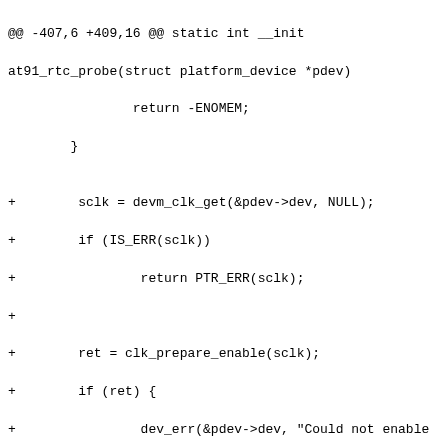@@ -407,6 +409,16 @@ static int __init at91_rtc_probe(struct platform_device *pdev)
                return -ENOMEM;
        }

+        sclk = devm_clk_get(&pdev->dev, NULL);
+        if (IS_ERR(sclk))
+                return PTR_ERR(sclk);
+
+        ret = clk_prepare_enable(sclk);
+        if (ret) {
+                dev_err(&pdev->dev, "Could not enable slow clock\n");
+                return ret;
+        }
+
        at91_rtc_write(AT91_RTC_CR, 0);
        at91_rtc_write(AT91_RTC_MR, 0);        /* 24 hour mode */

@@ -420,7 +432,7 @@ static int __init at91_rtc_probe(struct platform_device *pdev)
                                "at91_rtc", pdev);
        if (ret) {
                dev_err(&pdev->dev, "IRQ %d already in use.\n", irq);
-                return ret;
+                goto err_clk;
        }